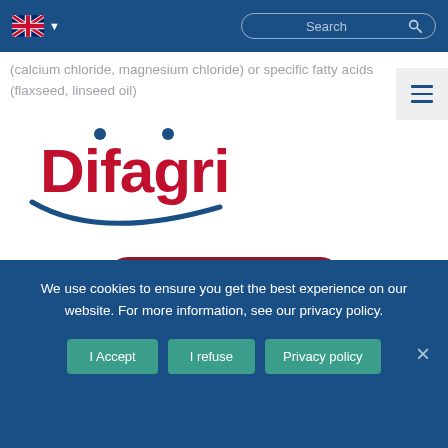Navigation bar with UK flag, dropdown, search box
[Figure (logo): Difagri company logo with red text and blue swoosh]
(calcium chloride, magnesium chloride) or specific fatty acids (flaxseed, linseed oil)
[Figure (other): Hamburger menu icon (three horizontal lines)]
TO LEARN MORE
[Figure (illustration): Two person/farmer outline icons on dark red background]
We use cookies to ensure you get the best experience on our website. For more information, see our privacy policy.
I Accept   I refuse   Privacy policy